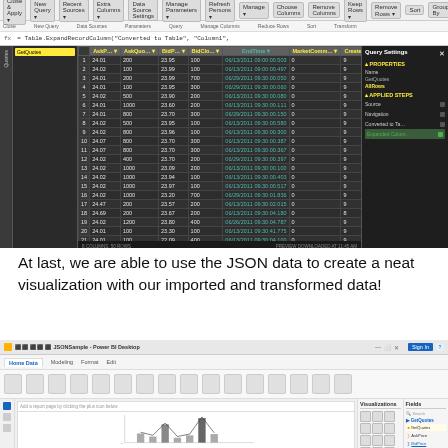[Figure (screenshot): Microsoft Power BI Query Editor screenshot showing a data table with columns including AskP, AskQuo, BidP, BidClo, EndTime, MarketComm, CreateDate, StartTime. Table has approximately 30 rows of financial data. Right panel shows Query Settings with Properties (Name: GetQuotes, AllRows) and Applied Steps (Source, Navigation, Converted to Table, Expanded Column). Formula bar shows Table.ExpandRecordColumn expression. Status bar shows 8 COLUMNS, 50 ROWS and PREVIEW DOWNLOADED AT 11:45 AM.]
At last, we are able to use the JSON data to create a neat visualization with our imported and transformed data!
[Figure (screenshot): Microsoft Power BI Desktop screenshot showing JSONSample file open. Ribbon with Home, Modeling, Format, Edit tabs visible. Main canvas area shows a partially visible bar/line chart visualization. Right side shows Visualizations panel and Fields panel with GetQuotes, AskPrice, BidPrice, GetQuotes fields listed.]